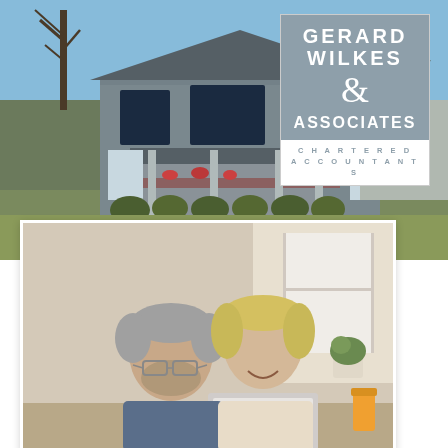[Figure (photo): Exterior photo of a large two-story grey craftsman house with black-trimmed windows, flower boxes, manicured shrubs in front, bare winter trees, blue sky background]
[Figure (logo): Gerard Wilkes & Associates Chartered Accountants logo — white text on grey-blue square background, with 'CHARTERED ACCOUNTANTS' in spaced grey letters below on white]
[Figure (photo): An older couple (man with grey hair and glasses in blue sweater, woman with blonde hair in cream sweater) smiling and looking at a laptop together at a table; glass of orange juice visible]